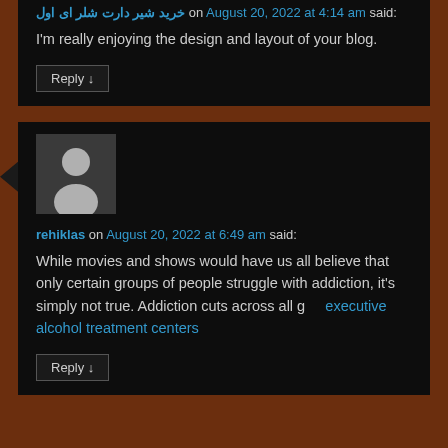on August 20, 2022 at 4:14 am said:
I'm really enjoying the design and layout of your blog.
Reply ↓
[Figure (illustration): Default user avatar showing a silhouette of a person on a dark gray background]
rehiklas on August 20, 2022 at 6:49 am said:
While movies and shows would have us all believe that only certain groups of people struggle with addiction, it's simply not true. Addiction cuts across all g   executive alcohol treatment centers
Reply ↓